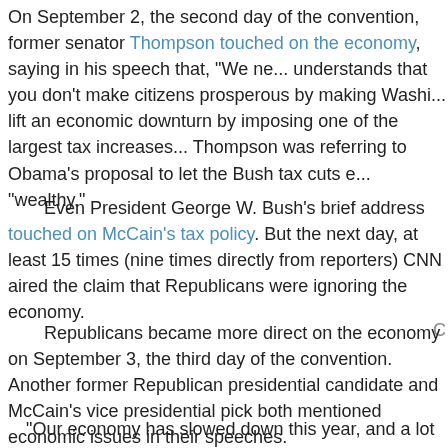On September 2, the second day of the convention, former senator Thompson touched on the economy, saying in his speech that, "We ne... understands that you don't make citizens prosperous by making Washi... lift an economic downturn by imposing one of the largest tax increases... Thompson was referring to Obama's proposal to let the Bush tax cuts e... "wealthy."
Even President George W. Bush's brief address touched on McCain's tax policy. But the next day, at least 15 times (nine times directly from reporters) CNN aired the claim that Republicans were ignoring the economy.
Republicans became more direct on the economy on September 3, the third day of the convention. Another former Republican presidential candidate and McCain's vice presidential pick both mentioned economic issues in their speeches.
"Our economy has slowed down this year, and a lot of people are hu... candidate and Massachusetts Gov. Mitt Romney said in his speech. "W...